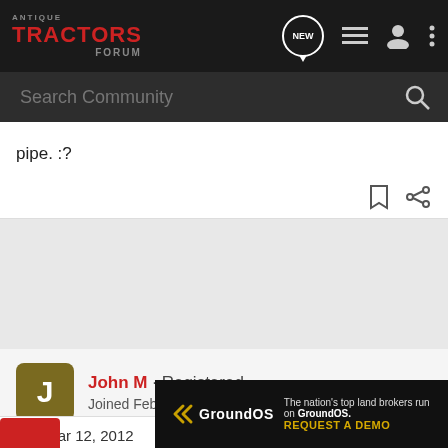Antique Tractors Forum - navigation bar with logo, NEW, list, user, and more icons, and search bar
pipe. :?
John M · Registered
Joined Feb 27, 2012 · 2,471 Posts
#5 · Mar 12, 2012
[Figure (screenshot): GroundOS advertisement banner: 'The nation's top land brokers run on GroundOS. REQUEST A DEMO']